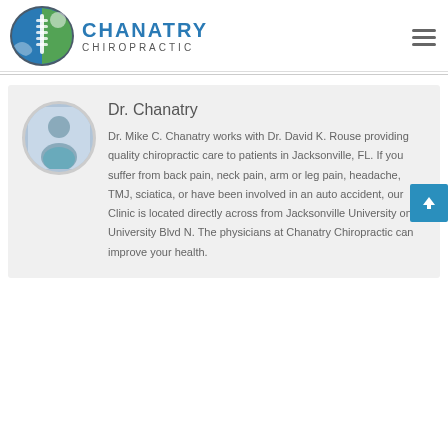[Figure (logo): Chanatry Chiropractic logo with spine and tree graphic in blue and green oval, beside text 'CHANATRY CHIROPRACTIC']
Dr. Chanatry
Dr. Mike C. Chanatry works with Dr. David K. Rouse providing quality chiropractic care to patients in Jacksonville, FL. If you suffer from back pain, neck pain, arm or leg pain, headache, TMJ, sciatica, or have been involved in an auto accident, our Clinic is located directly across from Jacksonville University on University Blvd N. The physicians at Chanatry Chiropractic can improve your health.